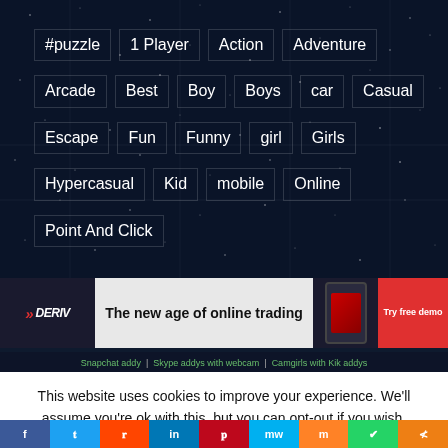#puzzle | 1 Player | Action | Adventure
Arcade | Best | Boy | Boys | car | Casual
Escape | Fun | Funny | girl | Girls
Hypercasual | Kid | mobile | Online
Point And Click
[Figure (screenshot): Deriv advertisement banner: 'The new age of online trading' with Try free demo button]
Snapchat addy | Skype addys with webcam | Camgirls with Kik addys
This website uses cookies to improve your experience. We'll assume you're ok with this, but you can opt-out if you wish.
Cookie settings  ACCEPT